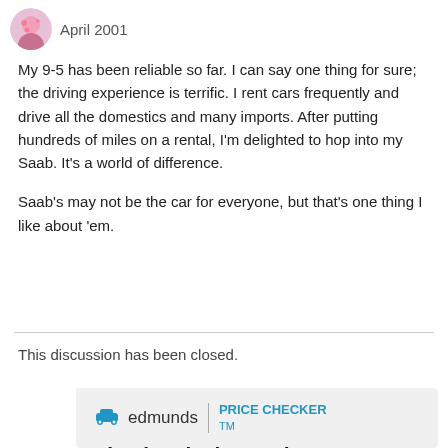April 2001
My 9-5 has been reliable so far. I can say one thing for sure; the driving experience is terrific. I rent cars frequently and drive all the domestics and many imports. After putting hundreds of miles on a rental, I'm delighted to hop into my Saab. It's a world of difference.
Saab's may not be the car for everyone, but that's one thing I like about 'em.
This discussion has been closed.
[Figure (logo): Edmunds Price Checker advertisement box with car icon, Edmunds logo, and text 'Check a dealer's price / Bring back a dealer's quote']